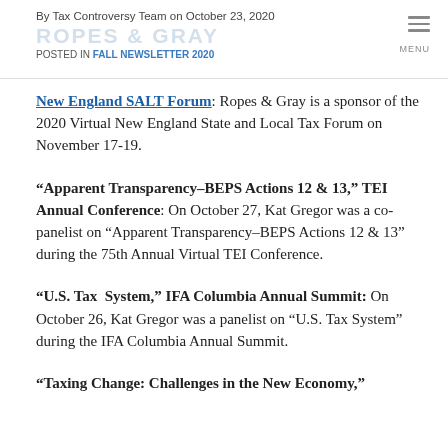By Tax Controversy Team on October 23, 2020
ROPES & GRAY
POSTED IN FALL NEWSLETTER 2020
New England SALT Forum: Ropes & Gray is a sponsor of the 2020 Virtual New England State and Local Tax Forum on November 17-19.
“Apparent Transparency–BEPS Actions 12 & 13,” TEI Annual Conference: On October 27, Kat Gregor was a co-panelist on “Apparent Transparency–BEPS Actions 12 & 13” during the 75th Annual Virtual TEI Conference.
“U.S. Tax System,” IFA Columbia Annual Summit: On October 26, Kat Gregor was a panelist on “U.S. Tax System” during the IFA Columbia Annual Summit.
“Taxing Change: Challenges in the New Economy,”